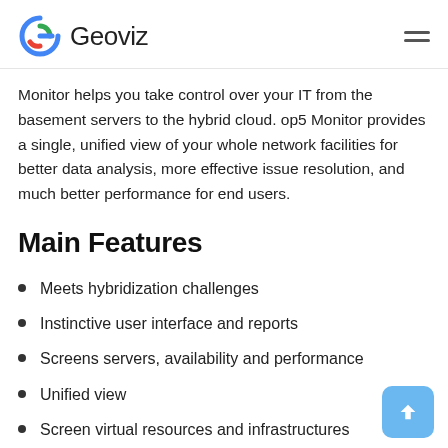Geoviz
Monitor helps you take control over your IT from the basement servers to the hybrid cloud. op5 Monitor provides a single, unified view of your whole network facilities for better data analysis, more effective issue resolution, and much better performance for end users.
Main Features
Meets hybridization challenges
Instinctive user interface and reports
Screens servers, availability and performance
Unified view
Screen virtual resources and infrastructures
Public, personal or hybrid cloud monitoring